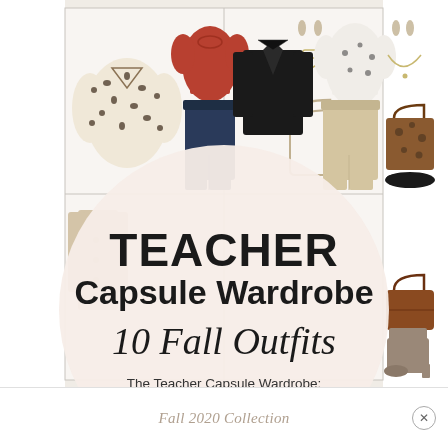[Figure (infographic): Teacher Capsule Wardrobe collage showing clothing items (leopard cardigan, red t-shirt, dark jeans, blazer, spotted blouse, khaki pants, bags, shoes, accessories) arranged in a grid layout with a large circular overlay in the center containing the title text]
TEACHER Capsule Wardrobe 10 Fall Outfits
The Teacher Capsule Wardrobe: Fall 2020 Collection